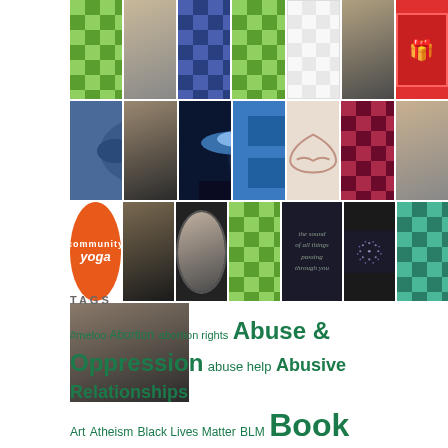[Figure (photo): Grid of thumbnail images: quilt patterns, photos of people, icons, and other images arranged in 4 rows. Row 1: green quilt pattern, man sitting, blue quilt pattern, green quilt pattern, white quilt pattern, man portrait, red card with figure. Row 2: close-up eye, man in suit, UFO/light scene, blue grid pattern, hands forming heart, maroon quilt pattern, woman portrait. Row 3: Community Yoga orange circle logo, smiling Black man, woman black & white portrait, green quilt pattern, dark handwriting text, dots circle pattern, teal quilt pattern. Row 4: man and woman smiling.]
TAGS
#metoo Abortion abortion rights Abuse & Oppression abuse help Abusive Relationships Art Atheism Black Lives Matter BLM Book Reviews christianity Consciousness Creating your Life Creative Expression creativity Death Designing